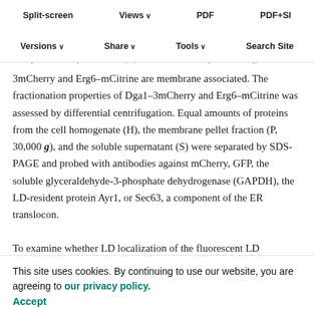Split-screen | Views | PDF | PDF+SI | Versions | Share | Tools | Search Site
blotting using the constitutively expressed 3-phosphoglycerate kinase (Pgk1) as loading standard. Protein levels, normalized to t=0, are plotted as the graph, and values represent means ± SD of three independent experiments. (C) The LD marker proteins Dga1–3mCherry and Erg6–mCitrine are membrane associated. The fractionation properties of Dga1–3mCherry and Erg6–mCitrine was assessed by differential centrifugation. Equal amounts of proteins from the cell homogenate (H), the membrane pellet fraction (P, 30,000 g), and the soluble supernatant (S) were separated by SDS-PAGE and probed with antibodies against mCherry, GFP, the soluble glyceraldehyde-3-phosphate dehydrogenase (GAPDH), the LD-resident protein Ayr1, or Sec63, a component of the ER translocon.
To examine whether LD localization of the fluorescent LD marker proteins was possibly due to their transfer through the aqueous space from a distinct cytoplasmic acceptor LD to their synthesis within the resulting zygote, we determined the half-life of these marker proteins.
This site uses cookies. By continuing to use our website, you are agreeing to our privacy policy. Accept